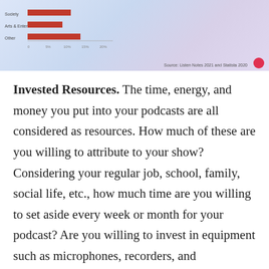[Figure (bar-chart): Horizontal bar chart showing podcast category data. Source: Listen Notes 2021 and Statista 2020]
Invested Resources. The time, energy, and money you put into your podcasts are all considered as resources. How much of these are you willing to attribute to your show? Considering your regular job, school, family, social life, etc., how much time are you willing to set aside every week or month for your podcast? Are you willing to invest in equipment such as microphones, recorders, and headphones? Of course, they're NOT needed to start a